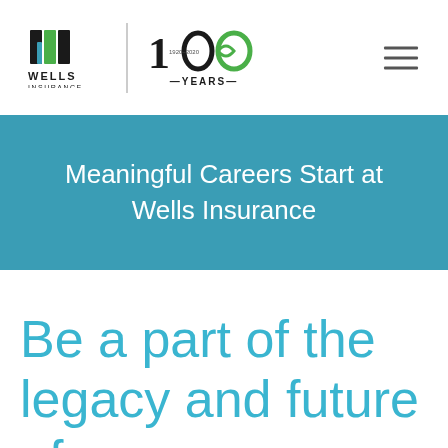[Figure (logo): Wells Insurance logo with stylized black and green W mark above text 'WELLS INSURANCE', next to a vertical divider and a '100 YEARS 1920-2020' centennial badge with green infinity loop design]
Meaningful Careers Start at Wells Insurance
Be a part of the legacy and future of